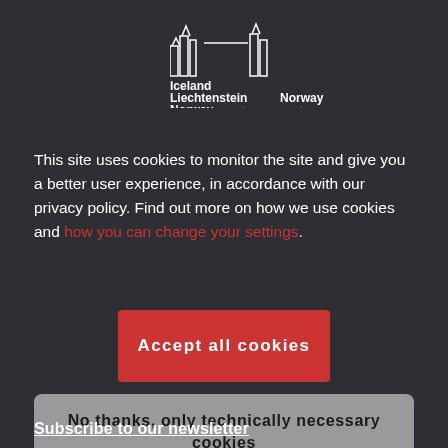[Figure (logo): Iceland Liechtenstein Norway grants and Norway grants logo with building silhouette icons]
This site uses cookies to monitor the site and give you a better user experience, in accordance with our privacy policy. Find out more on how we use cookies and how you can change your settings.
Accept all cookies
No thanks, only technically necessary cookies
Subscribe to our newsletter